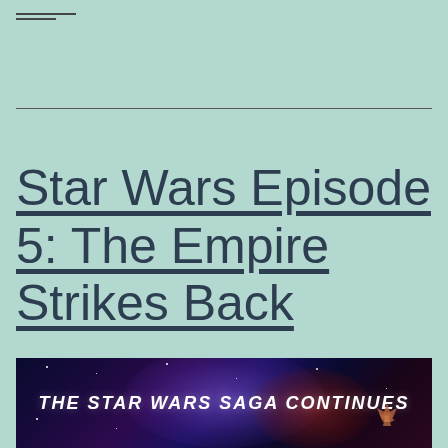## ##
Star Wars Episode 5: The Empire Strikes Back
[Figure (photo): Star Wars movie promotional image with dark space background, purple nebula glow, text reading 'THE STAR WARS SAGA CONTINUES' in bold italic white letters, and spacecraft silhouettes in the lower right against a red atmospheric glow.]